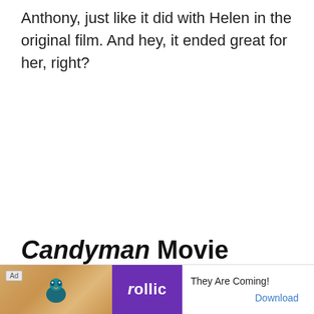Anthony, just like it did with Helen in the original film. And hey, it ended great for her, right?
Candyman Movie Review
On a basic level, this new Candyman movie func...
[Figure (other): Advertisement banner for Rollic game app. Shows 'Ad' label, decorative image with bird icon, Rollic purple logo, tagline 'They Are Coming!', and a 'Download' button.]